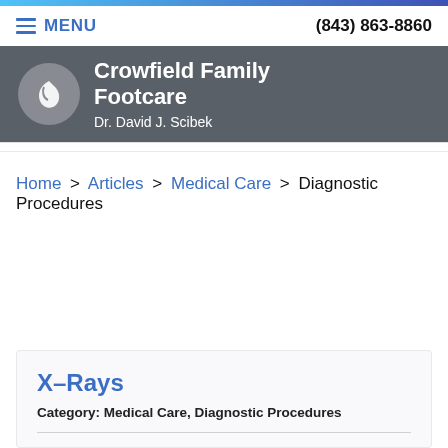MENU | (843) 863-8860
Crowfield Family Footcare
Dr. David J. Scibek
Home > Articles > Medical Care > Diagnostic Procedures
X-Rays
Category: Medical Care, Diagnostic Procedures